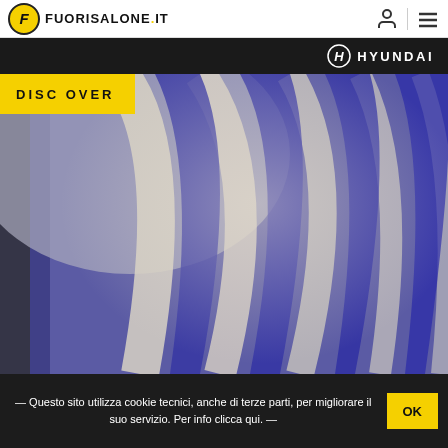FUORISALONE.IT
[Figure (logo): Hyundai logo and brand name in white on dark bar]
[Figure (photo): Blurred abstract photo showing blue and white curved light streaks, with yellow DISCOVER label overlay]
— Questo sito utilizza cookie tecnici, anche di terze parti, per migliorare il suo servizio. Per info clicca qui. — OK